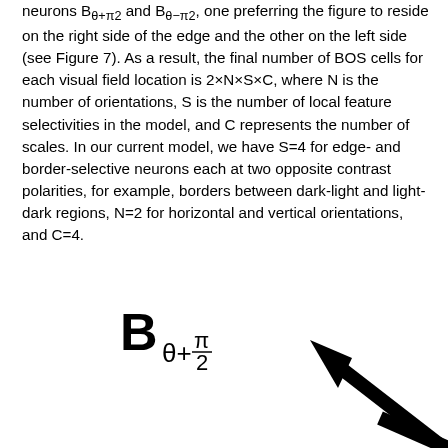neurons Bθ+π2 and Bθ−π2, one preferring the figure to reside on the right side of the edge and the other on the left side (see Figure 7). As a result, the final number of BOS cells for each visual field location is 2×N×S×C, where N is the number of orientations, S is the number of local feature selectivities in the model, and C represents the number of scales. In our current model, we have S=4 for edge- and border-selective neurons each at two opposite contrast polarities, for example, borders between dark-light and light-dark regions, N=2 for horizontal and vertical orientations, and C=4.
[Figure (other): Partial figure showing a BOS cell label with subscript theta+pi/2 and an arrow pointing diagonally from lower-right to upper-left, indicating the preferred side of border ownership.]